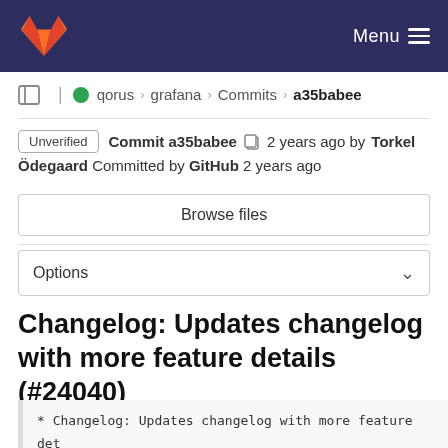Menu
qorus › grafana › Commits › a35babee
Unverified  Commit a35babee  2 years ago by Torkel Ödegaard  Committed by GitHub 2 years ago
Browse files
Options
Changelog: Updates changelog with more feature details (#24040)
* Changelog: Updates changelog with more feature det

* spell fix